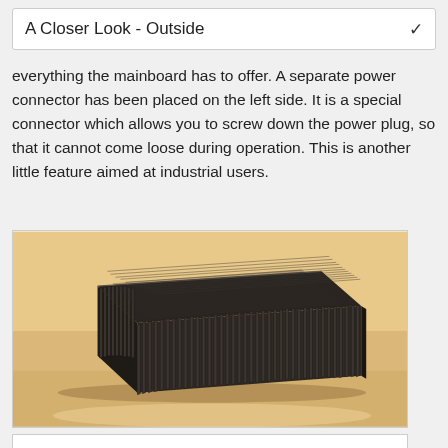A Closer Look - Outside
everything the mainboard has to offer. A separate power connector has been placed on the left side. It is a special connector which allows you to screw down the power plug, so that it cannot come loose during operation. This is another little feature aimed at industrial users.
[Figure (photo): A black aluminum fanless mini-PC enclosure with heat sink fins on the sides and front, photographed on a light wooden surface. The unit is a flat, square box with closely-spaced vertical fins acting as passive cooling.]